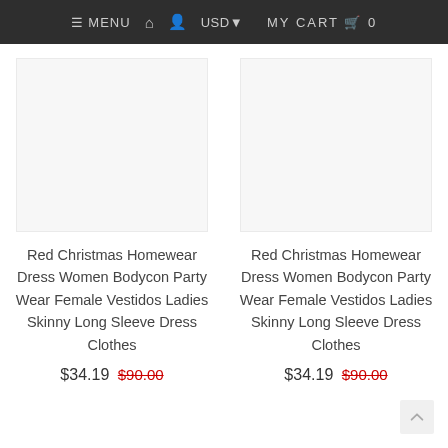≡ MENU  🏠  👤  USD▾   MY CART  🛒  0
Red Christmas Homewear Dress Women Bodycon Party Wear Female Vestidos Ladies Skinny Long Sleeve Dress Clothes
$34.19  $90.00
Red Christmas Homewear Dress Women Bodycon Party Wear Female Vestidos Ladies Skinny Long Sleeve Dress Clothes
$34.19  $90.00